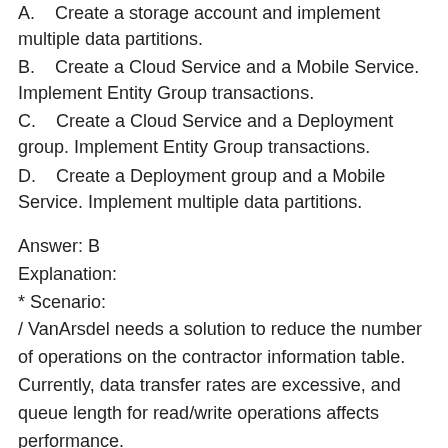A.   Create a storage account and implement multiple data partitions.
B.   Create a Cloud Service and a Mobile Service. Implement Entity Group transactions.
C.   Create a Cloud Service and a Deployment group. Implement Entity Group transactions.
D.   Create a Deployment group and a Mobile Service. Implement multiple data partitions.
Answer: B
Explanation:
* Scenario:
/ VanArsdel needs a solution to reduce the number of operations on the contractor information table. Currently, data transfer rates are excessive, and queue length for read/write operations affects performance.
/ A mobile service that is used to access contractor information must have automatically scalable,